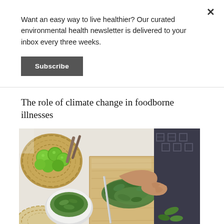Want an easy way to live healthier? Our curated environmental health newsletter is delivered to your inbox every three weeks.
Subscribe
The role of climate change in foodborne illnesses
[Figure (photo): Overhead view of a person chopping green herbs on a wooden cutting board, with a wicker basket of limes, a bowl of chopped greens, and other fresh produce on a white table surface.]